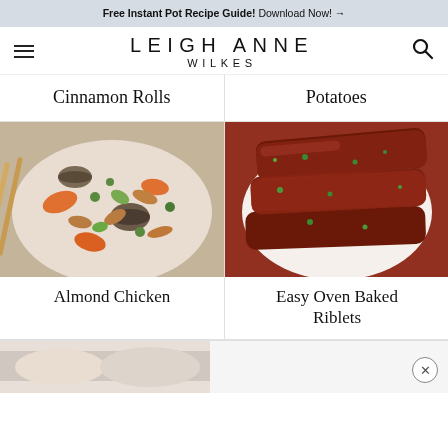Free Instant Pot Recipe Guide! Download Now! →
LEIGH ANNE WILKES
Cinnamon Rolls
Potatoes
[Figure (photo): Bowl of Almond Chicken with vegetables, mushrooms, carrots, peas, and chopsticks]
Almond Chicken
[Figure (photo): Easy Oven Baked Riblets on a white plate with BBQ sauce and green onions]
Easy Oven Baked Riblets
[Figure (photo): Partial view of another recipe at the bottom of the page]